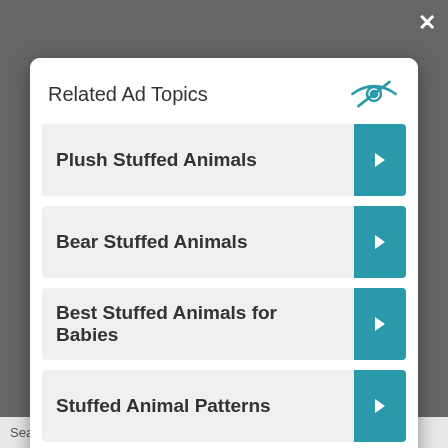Related Ad Topics
Plush Stuffed Animals
Bear Stuffed Animals
Best Stuffed Animals for Babies
Stuffed Animal Patterns
Continue to Site >>
Search for
2. Best Stuffed Animals for Babies